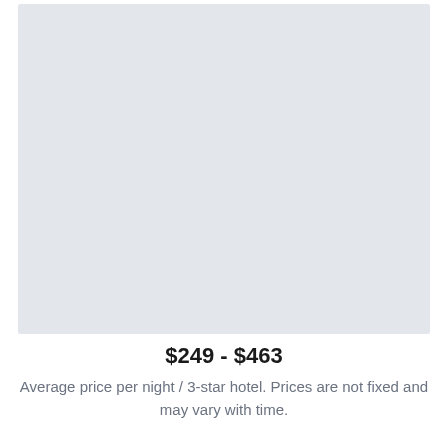[Figure (photo): Large light blue-grey placeholder image area representing a hotel photo]
$249 - $463
Average price per night / 3-star hotel. Prices are not fixed and may vary with time.